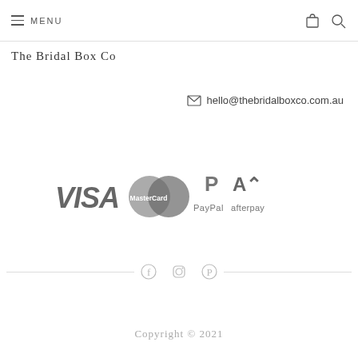MENU
The Bridal Box Co
hello@thebridalboxco.com.au
[Figure (logo): Payment method logos: VISA, MasterCard, PayPal, afterpay]
[Figure (infographic): Social media icons: Facebook, Instagram, Pinterest with horizontal divider lines]
Copyright © 2021